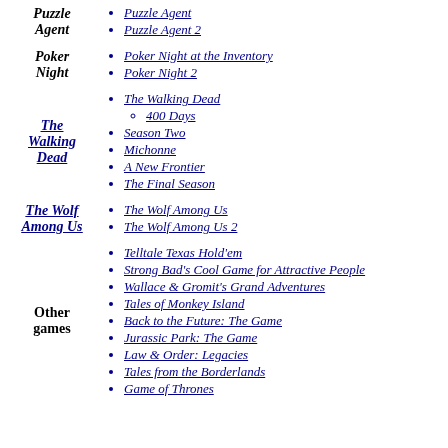Puzzle Agent — Puzzle Agent, Puzzle Agent 2
Poker Night — Poker Night at the Inventory, Poker Night 2
The Walking Dead — The Walking Dead (400 Days), Season Two, Michonne, A New Frontier, The Final Season
The Wolf Among Us — The Wolf Among Us, The Wolf Among Us 2
Other games — Telltale Texas Hold'em, Strong Bad's Cool Game for Attractive People, Wallace & Gromit's Grand Adventures, Tales of Monkey Island, Back to the Future: The Game, Jurassic Park: The Game, Law & Order: Legacies, Tales from the Borderlands, Game of Thrones